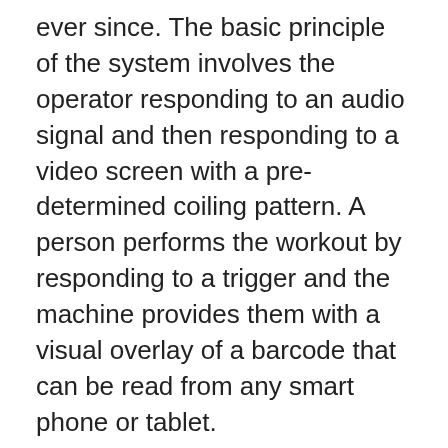ever since. The basic principle of the system involves the operator responding to an audio signal and then responding to a video screen with a pre-determined coiling pattern. A person performs the workout by responding to a trigger and the machine provides them with a visual overlay of a barcode that can be read from any smart phone or tablet.
There are some advanced features with the Dec spoiler Machine that make it stand out from the crowd. One of the more popular pieces of advanced technology is the uncoiler. The uncoiler allows for one of two different kinds of results. If you roll forming machines are your thing, then the uncoiler will allow you to make a professional looking full body press.